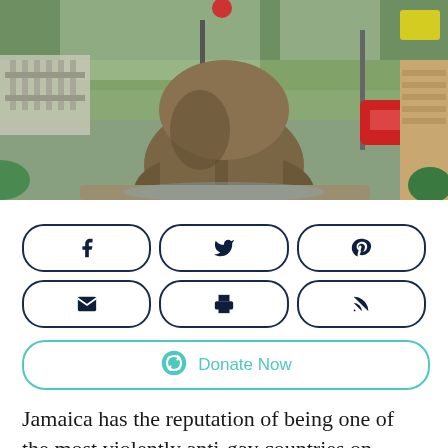[Figure (photo): Outdoor photo showing a bronze sculpture or statue (lower torso/back view) in an urban setting with trees, a fence, and vehicles visible in the background. The scene appears to be in Jamaica.]
[Figure (infographic): Six social share buttons arranged in two rows of three: Facebook (f), Twitter (bird), Pinterest (p), Email (envelope), Print (printer), RSS (feed icon)]
[Figure (infographic): Donate Now button with teal border and teal text, featuring a two-arrows circular logo icon in teal]
Jamaica has the reputation of being one of the most violently anti-gay countries on earth.